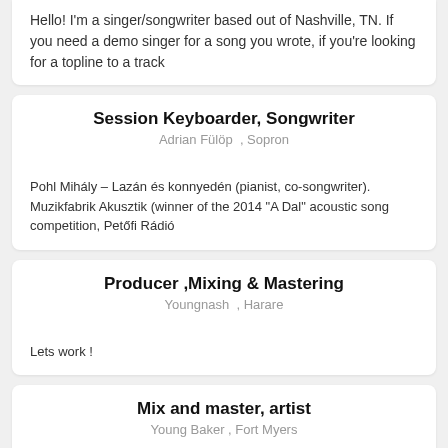Hello! I'm a singer/songwriter based out of Nashville, TN. If you need a demo singer for a song you wrote, if you're looking for a topline to a track
Session Keyboarder, Songwriter
Adrian Fülöp , Sopron
Pohl Mihály – Lazán és konnyedén (pianist, co-songwriter). Muzikfabrik Akusztik (winner of the 2014 "A Dal" acoustic song competition, Petőfi Rádió
Producer ,Mixing & Mastering
Youngnash , Harare
Lets work !
Mix and master, artist
Young Baker , Fort Myers